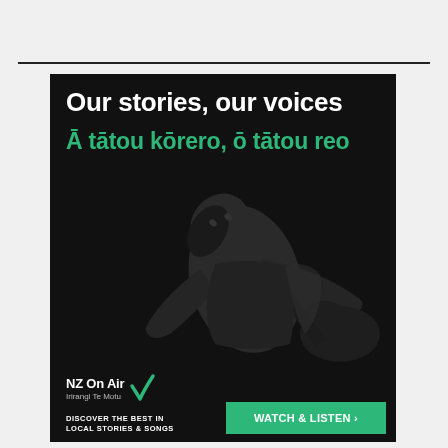[Figure (illustration): NZ On Air advertisement with black background featuring a person playing guitar, tilting head back. White bold headline reads 'Our stories, our voices', below in green 'Ā tātou kōrero, ō tātou reo'. Bottom has NZ On Air logo with tick, text 'DISCOVER THE BEST IN LOCAL STORIES & SONGS', and a green 'WATCH & LISTEN >' button.]